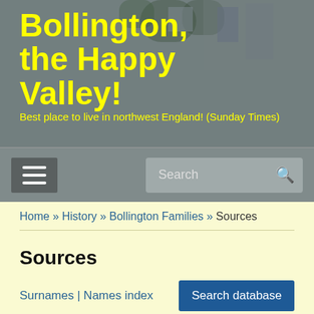[Figure (photo): Header photo showing a building with foliage, overlaid with semi-transparent grey tint serving as website banner background]
Bollington, the Happy Valley!
Best place to live in northwest England! (Sunday Times)
[Figure (screenshot): Navigation bar with hamburger menu button on left and search bar on right]
Home » History » Bollington Families » Sources
Sources
Surnames | Names index
Search database